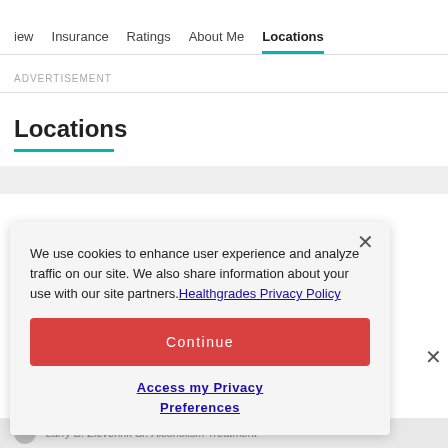iew   Insurance   Ratings   About Me   Locations
ADVERTISEMENT
Locations
We use cookies to enhance user experience and analyze traffic on our site. We also share information about your use with our site partners. Healthgrades Privacy Policy
Continue
Access my Privacy Preferences
Larry B. Zieverink Sr. Alcoholism Treatment